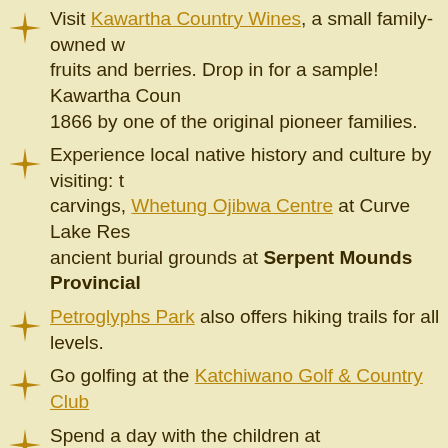Visit Kawartha Country Wines, a small family-owned winery that makes wines from local fruits and berries. Drop in for a sample! Kawartha Country Wines has been farmed since 1866 by one of the original pioneer families.
Experience local native history and culture by visiting: the petroglyphs and carvings, Whetung Ojibwa Centre at Curve Lake Reserve, and the ancient burial grounds at Serpent Mounds Provincial Park.
Petroglyphs Park also offers hiking trails for all levels.
Go golfing at the Katchiwano Golf & Country Club
Spend a day with the children at Peterborough's Riverview Park and Zoo which sits on 78 acres of land and offers attractions for the whole family -- free admission!
Visit the Indian River Reptile Zoo Research and Education Centre, located 20 minutes outside Peterborough.
Explore the caves and kettles at Warsaw Caves Conservation Area.
Visit the Peterborough Festival of Lights, offering a spectacular display of lights...